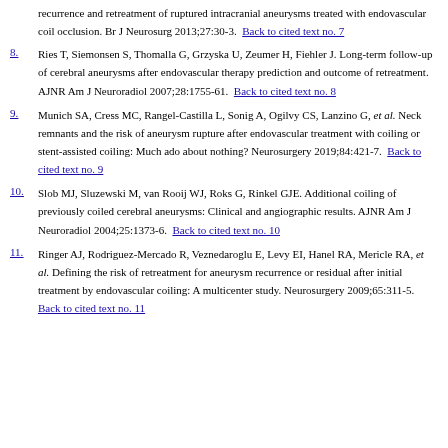recurrence and retreatment of ruptured intracranial aneurysms treated with endovascular coil occlusion. Br J Neurosurg 2013;27:30-3.  Back to cited text no. 7
8. Ries T, Siemonsen S, Thomalla G, Grzyska U, Zeumer H, Fiehler J. Long-term follow-up of cerebral aneurysms after endovascular therapy prediction and outcome of retreatment. AJNR Am J Neuroradiol 2007;28:1755-61.  Back to cited text no. 8
9. Munich SA, Cress MC, Rangel-Castilla L, Sonig A, Ogilvy CS, Lanzino G, et al. Neck remnants and the risk of aneurysm rupture after endovascular treatment with coiling or stent-assisted coiling: Much ado about nothing? Neurosurgery 2019;84:421-7.  Back to cited text no. 9
10. Slob MJ, Sluzewski M, van Rooij WJ, Roks G, Rinkel GJE. Additional coiling of previously coiled cerebral aneurysms: Clinical and angiographic results. AJNR Am J Neuroradiol 2004;25:1373-6.  Back to cited text no. 10
11. Ringer AJ, Rodriguez-Mercado R, Veznedaroglu E, Levy EI, Hanel RA, Mericle RA, et al. Defining the risk of retreatment for aneurysm recurrence or residual after initial treatment by endovascular coiling: A multicenter study. Neurosurgery 2009;65:311-5.  Back to cited text no. 11